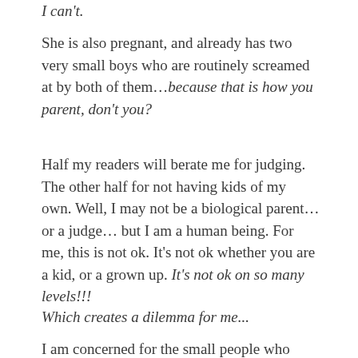I can't.
She is also pregnant, and already has two very small boys who are routinely screamed at by both of them…because that is how you parent, don't you?
Half my readers will berate me for judging. The other half for not having kids of my own. Well, I may not be a biological parent…or a judge… but I am a human being. For me, this is not ok. It's not ok whether you are a kid, or a grown up. It's not ok on so many levels!!!
Which creates a dilemma for me...
I am concerned for the small people who have